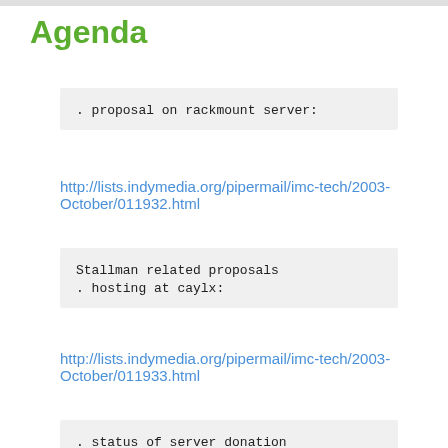Agenda
. proposal on rackmount server:
http://lists.indymedia.org/pipermail/imc-tech/2003-October/011932.html
Stallman related proposals
. hosting at caylx:
http://lists.indymedia.org/pipermail/imc-tech/2003-October/011933.html
. status of server donation
Migrating sites
. who needs to be migrated
. contacting